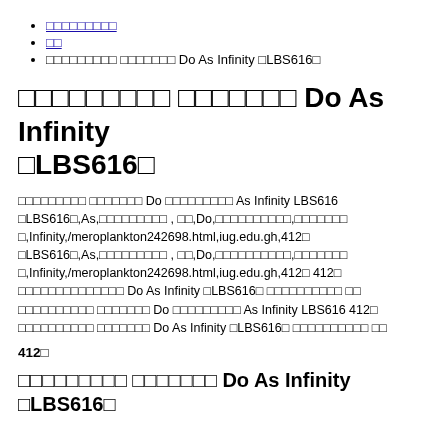□□□□□□□□□
□□
□□□□□□□□□ □□□□□□□ Do As Infinity □LBS616□
□□□□□□□□□ □□□□□□□ Do As Infinity □LBS616□
□□□□□□□□□ □□□□□□□ Do □□□□□□□□□ As Infinity LBS616 □LBS616□,As,□□□□□□□□□ , □□,Do,□□□□□□□□□□,□□□□□□□,Infinity,/meroplankton242698.html,iug.edu.gh,412□ □LBS616□,As,□□□□□□□□□ , □□,Do,□□□□□□□□□□,□□□□□□□□,Infinity,/meroplankton242698.html,iug.edu.gh,412□ 412□ □□□□□□□□□□□□□□ Do As Infinity □LBS616□ □□□□□□□□□□ □□ □□□□□□□□□□ □□□□□□□ Do □□□□□□□□□ As Infinity LBS616 412□ □□□□□□□□□□ □□□□□□□ Do As Infinity □LBS616□ □□□□□□□□□□ □□
412□
□□□□□□□□□ □□□□□□□ Do As Infinity □LBS616□